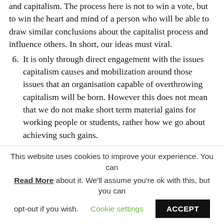and capitalism. The process here is not to win a vote, but to win the heart and mind of a person who will be able to draw similar conclusions about the capitalist process and influence others. In short, our ideas must viral.
6. It is only through direct engagement with the issues capitalism causes and mobilization around those issues that an organisation capable of overthrowing capitalism will be born. However this does not mean that we do not make short term material gains for working people or students, rather how we go about achieving such gains.
7. The Connolly Youth Movement strives to engage young people in the command of their own destiny. Where others demand rent controls, we call for the occupation and liberation of empty buildings and
This website uses cookies to improve your experience. You can Read More about it. We'll assume you're ok with this, but you can opt-out if you wish. Cookie settings ACCEPT